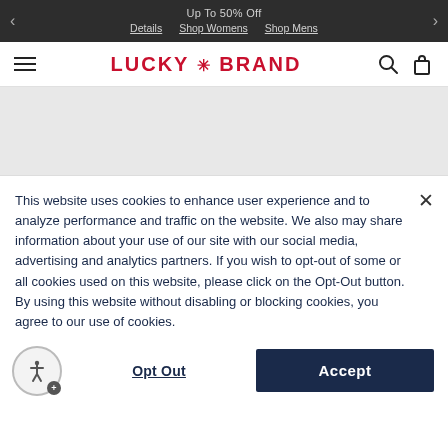Up To 50% Off  Details  Shop Womens  Shop Mens
[Figure (logo): Lucky Brand logo with red text and asterisk/star symbol between LUCKY and BRAND]
This website uses cookies to enhance user experience and to analyze performance and traffic on the website. We also may share information about your use of our site with our social media, advertising and analytics partners. If you wish to opt-out of some or all cookies used on this website, please click on the Opt-Out button. By using this website without disabling or blocking cookies, you agree to our use of cookies.
Opt Out   Accept